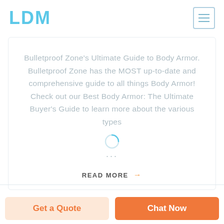LDM
Bulletproof Zone's Ultimate Guide to Body Armor. Bulletproof Zone has the MOST up-to-date and comprehensive guide to all things Body Armor! Check out our Best Body Armor: The Ultimate Buyer's Guide to learn more about the various types ...
READ MORE →
Get a Quote
Chat Now